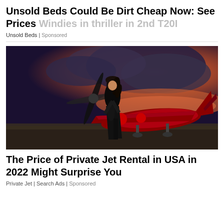Unsold Beds Could Be Dirt Cheap Now: See Prices Windies in thriller in 2nd T20I
Unsold Beds | Sponsored
[Figure (photo): Woman in black dress standing in front of a red and black propeller airplane on a tarmac at dusk with dramatic cloudy sky]
The Price of Private Jet Rental in USA in 2022 Might Surprise You
Private Jet | Search Ads | Sponsored